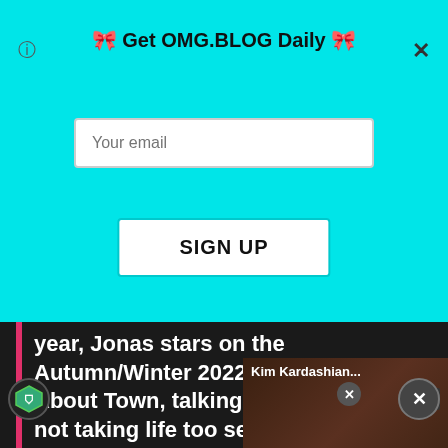🎀 Get OMG.BLOG Daily 🎀
Your email
SIGN UP
year, Jonas stars on the Autumn/Winter 2022 cover of Man About Town, talking new music and not taking life too seriously.
[Figure (screenshot): Kim Kardashian video thumbnail with play button overlay]
Damn, we need a chest... could eat as many Dorit... had that. Anyhoo, you can pre-order the Jonas issue here now. Find Nick after the jump!